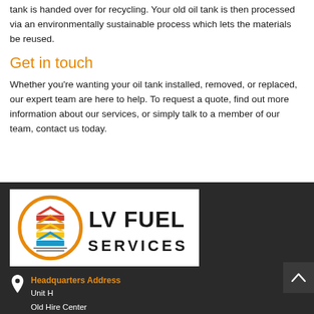tank is handed over for recycling. Your old oil tank is then processed via an environmentally sustainable process which lets the materials be reused.
Get in touch
Whether you're wanting your oil tank installed, removed, or replaced, our expert team are here to help. To request a quote, find out more information about our services, or simply talk to a member of our team, contact us today.
[Figure (logo): LV Fuel Services logo with circular icon showing red, orange, yellow and blue chevrons inside an orange circle, and bold text 'LV FUEL SERVICES']
Headquarters Address
Unit H
Old Hire Center
Park end Works
Croughton